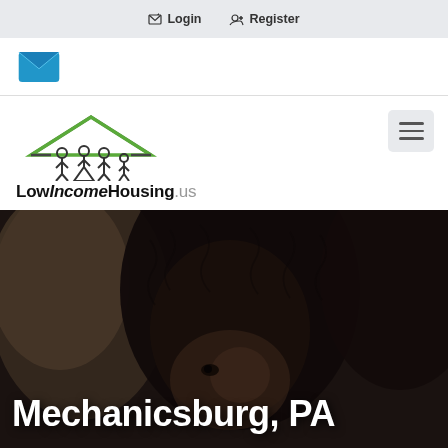Login   Register
[Figure (logo): Envelope/email icon in blue]
[Figure (logo): LowIncomeHousing.us logo with house and family silhouette icon above the text]
[Figure (photo): Close-up photograph of two children's faces with a dark overlay. Text overlay reads: Mechanicsburg, PA]